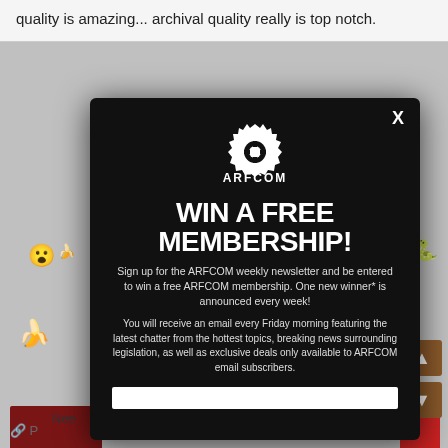quality is amazing... archival quality really is top notch.
[Figure (screenshot): ARFCOM website background with emoji and thumbnail images]
WIN A FREE MEMBERSHIP!
Sign up for the ARFCOM weekly newsletter and be entered to win a free ARFCOM membership. One new winner* is announced every week!
You will receive an email every Friday morning featuring the latest chatter from the hottest topics, breaking news surrounding legislation, as well as exclusive deals only available to ARFCOM email subscribers.